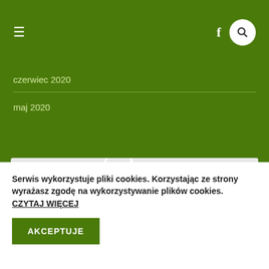≡  f 🔍
czerwiec 2020
maj 2020
[Figure (map): Google Maps view showing Służewo area with road numbers 250 and 266, Polna street, a lake to the west, green area to the south-east, and a location pin in the north-east.]
Serwis wykorzystuje pliki cookies. Korzystając ze strony wyrażasz zgodę na wykorzystywanie plików cookies. CZYTAJ WIĘCEJ
AKCEPTUJE